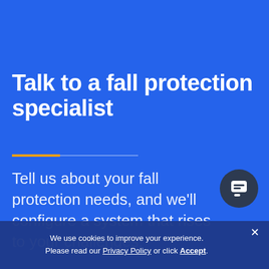Talk to a fall protection specialist
Tell us about your fall protection needs, and we'll configure a system that rises to your challenges.
[Figure (illustration): Chat button icon — dark circular button with white chat/message icon]
We use cookies to improve your experience. Please read our Privacy Policy or click Accept.